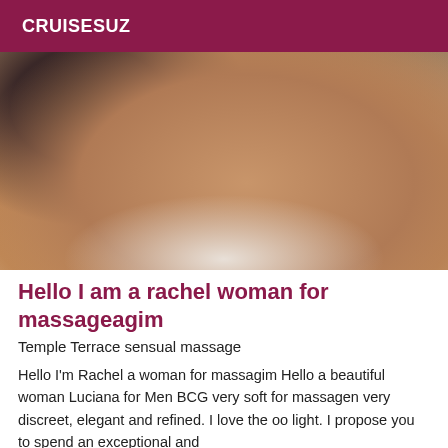CRUISESUZ
[Figure (photo): A woman lying on white bedding wearing black fabric top and purple lace underwear, body visible from torso to legs.]
Hello I am a rachel woman for massageagim
Temple Terrace sensual massage
Hello I'm Rachel a woman for massagim Hello a beautiful woman Luciana for Men BCG very soft for massagen very discreet, elegant and refined. I love the oo light. I propose you to spend an exceptional and